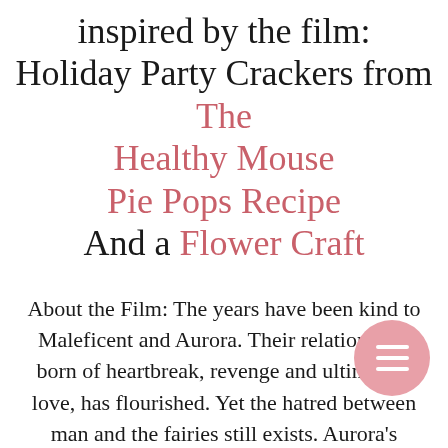inspired by the film: Holiday Party Crackers from The Healthy Mouse Pie Pops Recipe And a Flower Craft
About the Film: The years have been kind to Maleficent and Aurora. Their relationship, born of heartbreak, revenge and ultimately love, has flourished. Yet the hatred between man and the fairies still exists. Aurora's impending marriage to Prince Phillip is caus… celebration in the kingdom of Ulstead and t… neighboring Moors, as the wedding serves to unite the two worlds. When an unexpected encounter introduces